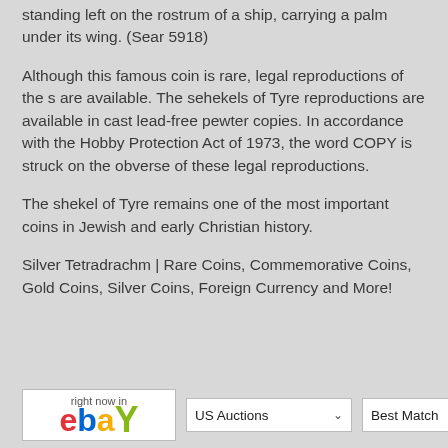standing left on the rostrum of a ship, carrying a palm under its wing. (Sear 5918)
Although this famous coin is rare, legal reproductions of the s are available. The sehekels of Tyre reproductions are available in cast lead-free pewter copies. In accordance with the Hobby Protection Act of 1973, the word COPY is struck on the obverse of these legal reproductions.
The shekel of Tyre remains one of the most important coins in Jewish and early Christian history.
Silver Tetradrachm | Rare Coins, Commemorative Coins, Gold Coins, Silver Coins, Foreign Currency and More!
[Figure (logo): eBay logo with colored letters: red e, blue b, yellow a, green y, with small text 'right now in' above]
US Auctions dropdown
Best Match dropdown